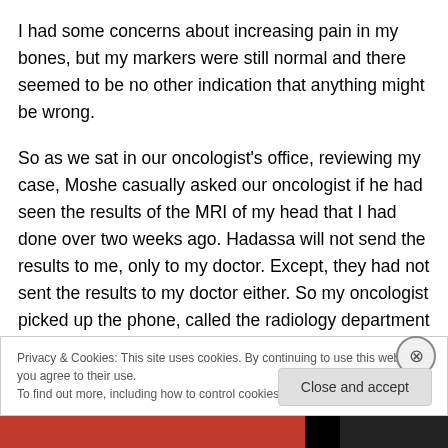I had some concerns about increasing pain in my bones, but my markers were still normal and there seemed to be no other indication that anything might be wrong.
So as we sat in our oncologist's office, reviewing my case, Moshe casually asked our oncologist if he had seen the results of the MRI of my head that I had done over two weeks ago. Hadassa will not send the results to me, only to my doctor. Except, they had not sent the results to my doctor either. So my oncologist picked up the phone, called the radiology department at Hadassa Hospital and
Privacy & Cookies: This site uses cookies. By continuing to use this website, you agree to their use.
To find out more, including how to control cookies, see here: Cookie Policy